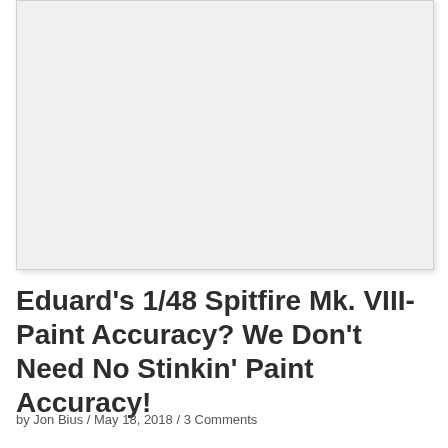[Figure (photo): Large image placeholder area, white/light gray rectangle with subtle border and shadow]
Eduard’s 1/48 Spitfire Mk. VIII- Paint Accuracy? We Don’t Need No Stinkin’ Paint Accuracy!
by Jon Bius / May 18, 2018 / 3 Comments